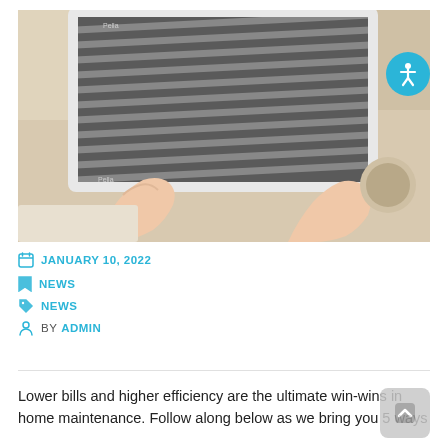[Figure (photo): Person's hands reaching up to remove or install a rectangular HVAC air filter in a ceiling vent. The corrugated filter is gray/dark, framed with white metal, against a cream-colored ceiling. A round vent is visible in the background to the right.]
JANUARY 10, 2022
NEWS
NEWS
BY ADMIN
Lower bills and higher efficiency are the ultimate win-wins in home maintenance. Follow along below as we bring you 5 ways